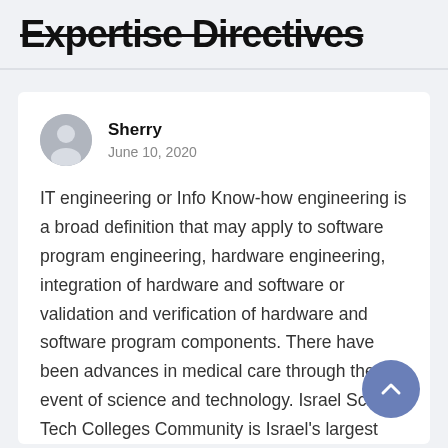Expertise Directives
Sherry
June 10, 2020
IT engineering or Info Know-how engineering is a broad definition that may apply to software program engineering, hardware engineering, integration of hardware and software or validation and verification of hardware and software program components. There have been advances in medical care through the event of science and technology. Israel Sci-Tech Colleges Community is Israel's largest